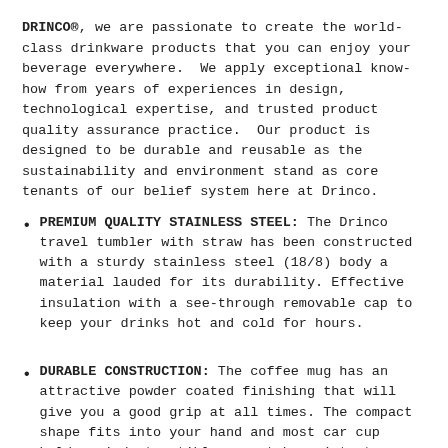DRINCO®, we are passionate to create the world-class drinkware products that you can enjoy your beverage everywhere.  We apply exceptional know-how from years of experiences in design, technological expertise, and trusted product quality assurance practice.  Our product is designed to be durable and reusable as the sustainability and environment stand as core tenants of our belief system here at Drinco.
PREMIUM QUALITY STAINLESS STEEL: The Drinco travel tumbler with straw has been constructed with a sturdy stainless steel (18/8) body a material lauded for its durability. Effective insulation with a see-through removable cap to keep your drinks hot and cold for hours.
DURABLE CONSTRUCTION: The coffee mug has an attractive powder coated finishing that will give you a good grip at all times. The compact shape fits into your hand and most car cup holder, indestructible, scratch resistant, no temperature transfer, safe and easy to clean over time.